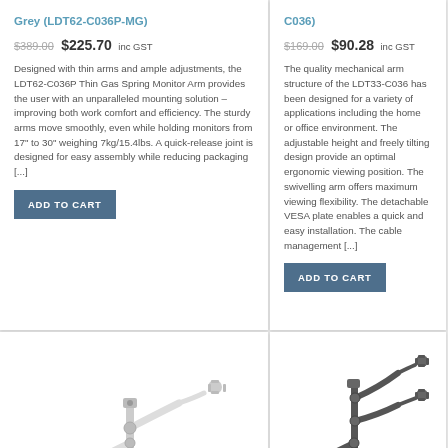Grey (LDT62-C036P-MG)
$389.00 $225.70 inc GST
Designed with thin arms and ample adjustments, the LDT62-C036P Thin Gas Spring Monitor Arm provides the user with an unparalleled mounting solution – improving both work comfort and efficiency. The sturdy arms move smoothly, even while holding monitors from 17" to 30" weighing 7kg/15.4lbs. A quick-release joint is designed for easy assembly while reducing packaging [...]
ADD TO CART
C036)
$169.00 $90.28 inc GST
The quality mechanical arm structure of the LDT33-C036 has been designed for a variety of applications including the home or office environment. The adjustable height and freely tilting design provide an optimal ergonomic viewing position. The swivelling arm offers maximum viewing flexibility. The detachable VESA plate enables a quick and easy installation. The cable management [...]
ADD TO CART
[Figure (photo): White dual monitor arm mount with two articulating arms on a pole stand]
[Figure (photo): Black triple monitor arm mount with three articulating arms on a pole stand]